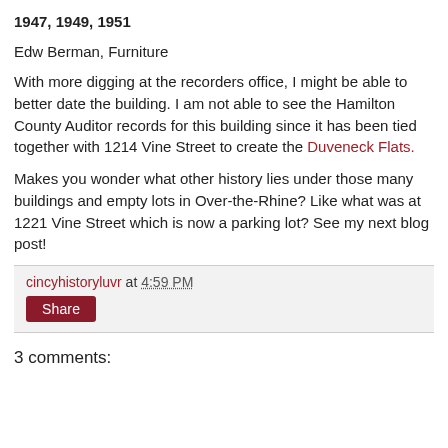1947, 1949, 1951
Edw Berman, Furniture
With more digging at the recorders office, I might be able to better date the building. I am not able to see the Hamilton County Auditor records for this building since it has been tied together with 1214 Vine Street to create the Duveneck Flats.
Makes you wonder what other history lies under those many buildings and empty lots in Over-the-Rhine? Like what was at 1221 Vine Street which is now a parking lot? See my next blog post!
cincyhistoryluvr at 4:59 PM
Share
3 comments: